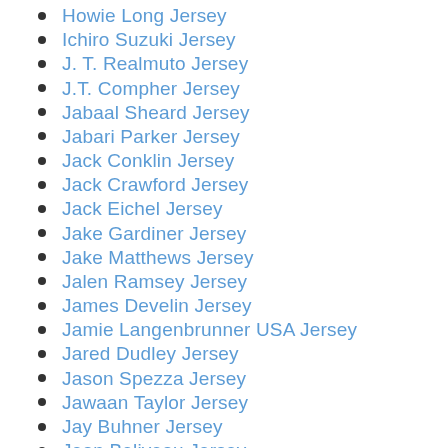Howie Long Jersey
Ichiro Suzuki Jersey
J. T. Realmuto Jersey
J.T. Compher Jersey
Jabaal Sheard Jersey
Jabari Parker Jersey
Jack Conklin Jersey
Jack Crawford Jersey
Jack Eichel Jersey
Jake Gardiner Jersey
Jake Matthews Jersey
Jalen Ramsey Jersey
James Develin Jersey
Jamie Langenbrunner USA Jersey
Jared Dudley Jersey
Jason Spezza Jersey
Jawaan Taylor Jersey
Jay Buhner Jersey
Jean Beliveau Jersey
Jeff Keppinger Jersey